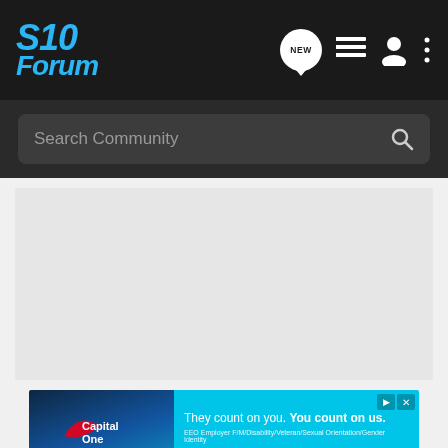S10 Forum
Search Community
[Figure (screenshot): Large light gray empty content area placeholder]
[Figure (infographic): Capital One advertisement banner: 'They count on you. You count on us.' with EEO disclaimer text]
[Figure (photo): Bottom strip partial image]